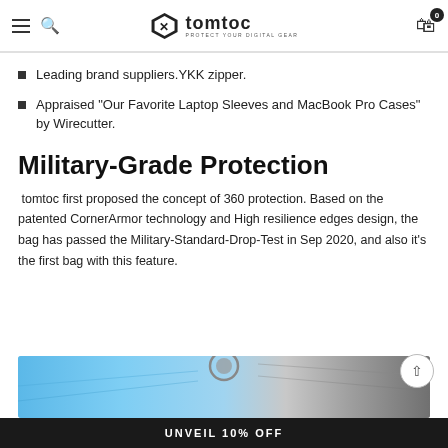tomtoc - PROTECT YOUR DIGITAL GEAR
Leading brand suppliers.YKK zipper.
Appraised "Our Favorite Laptop Sleeves and MacBook Pro Cases" by Wirecutter.
Military-Grade Protection
tomtoc first proposed the concept of 360 protection. Based on the patented CornerArmor technology and High resilience edges design, the bag has passed the Military-Standard-Drop-Test in Sep 2020, and also it's the first bag with this feature.
[Figure (photo): Close-up photo of a laptop bag with blue and silver tones, showing zipper and CornerArmor detail]
UNVEIL 10% OFF